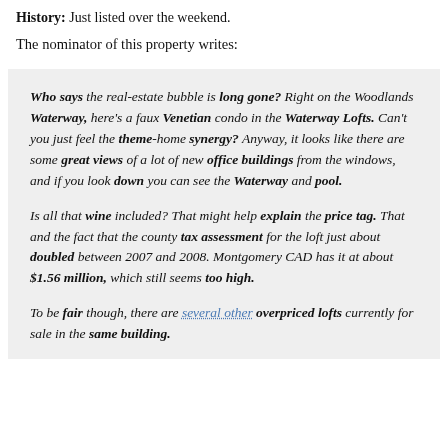History: Just listed over the weekend.
The nominator of this property writes:
Who says the real-estate bubble is long gone? Right on the Woodlands Waterway, here's a faux Venetian condo in the Waterway Lofts. Can't you just feel the theme-home synergy? Anyway, it looks like there are some great views of a lot of new office buildings from the windows, and if you look down you can see the Waterway and pool.

Is all that wine included? That might help explain the price tag. That and the fact that the county tax assessment for the loft just about doubled between 2007 and 2008. Montgomery CAD has it at about $1.56 million, which still seems too high.

To be fair though, there are several other overpriced lofts currently for sale in the same building.